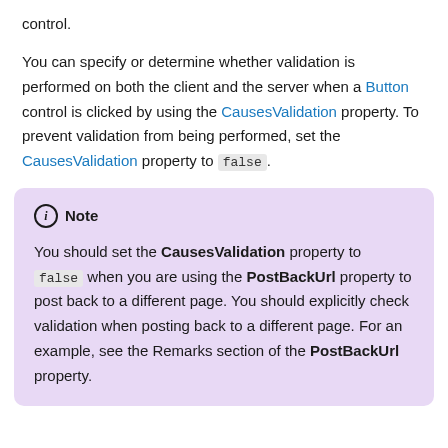control.
You can specify or determine whether validation is performed on both the client and the server when a Button control is clicked by using the CausesValidation property. To prevent validation from being performed, set the CausesValidation property to false.
Note
You should set the CausesValidation property to false when you are using the PostBackUrl property to post back to a different page. You should explicitly check validation when posting back to a different page. For an example, see the Remarks section of the PostBackUrl property.